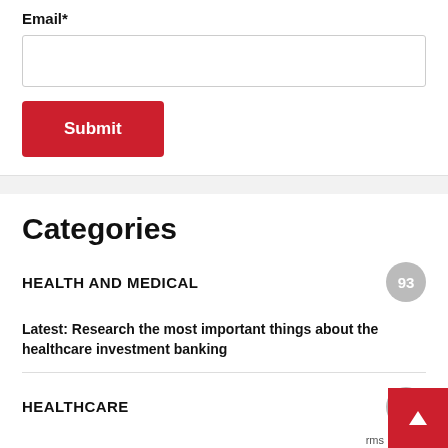Email*
Submit
Categories
HEALTH AND MEDICAL
93
Latest: Research the most important things about the healthcare investment banking
HEALTHCARE
30
Latest: Research the most important things about the healthcare investment banking